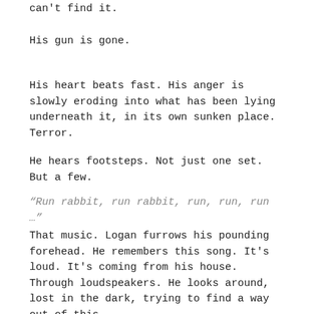can't find it.
His gun is gone.
His heart beats fast. His anger is slowly eroding into what has been lying underneath it, in its own sunken place. Terror.
He hears footsteps. Not just one set. But a few.
“Run rabbit, run rabbit, run, run, run …”
That music. Logan furrows his pounding forehead. He remembers this song. It's loud. It's coming from his house. Through loudspeakers. He looks around, lost in the dark, trying to find a way out of this.